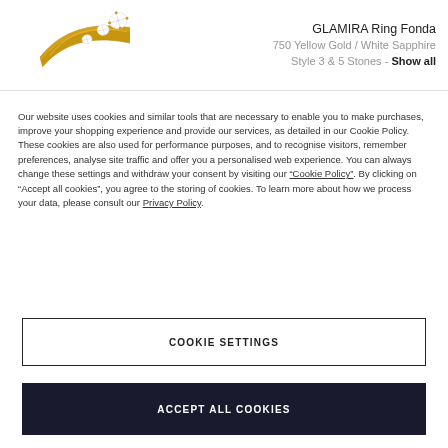[Figure (photo): Photo of a gold diamond ring (GLAMIRA Ring Fonda) with multiple white sapphire stones on a white background]
GLAMIRA Ring Fonda
750 Yellow Gold / White Sapphire
Style 3 & 5 Stones - Show all
Our website uses cookies and similar tools that are necessary to enable you to make purchases, improve your shopping experience and provide our services, as detailed in our Cookie Policy. These cookies are also used for performance purposes, and to recognise visitors, remember preferences, analyse site traffic and offer you a personalised web experience. You can always change these settings and withdraw your consent by visiting our “Cookie Policy”. By clicking on “Accept all cookies”, you agree to the storing of cookies. To learn more about how we process your data, please consult our Privacy Policy.
COOKIE SETTINGS
ACCEPT ALL COOKIES